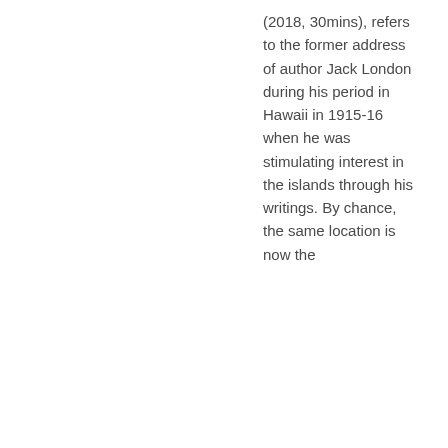(2018, 30mins), refers to the former address of author Jack London during his period in Hawaii in 1915-16 when he was stimulating interest in the islands through his writings. By chance, the same location is now the